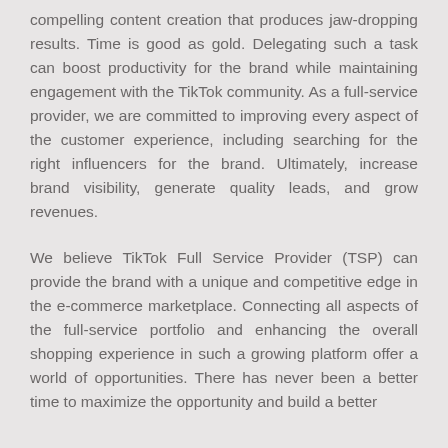compelling content creation that produces jaw-dropping results. Time is good as gold. Delegating such a task can boost productivity for the brand while maintaining engagement with the TikTok community. As a full-service provider, we are committed to improving every aspect of the customer experience, including searching for the right influencers for the brand. Ultimately, increase brand visibility, generate quality leads, and grow revenues.
We believe TikTok Full Service Provider (TSP) can provide the brand with a unique and competitive edge in the e-commerce marketplace. Connecting all aspects of the full-service portfolio and enhancing the overall shopping experience in such a growing platform offer a world of opportunities. There has never been a better time to maximize the opportunity and build a better